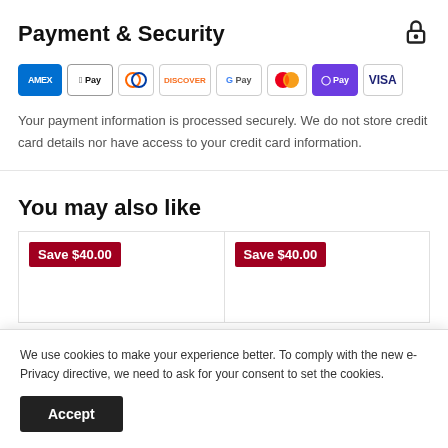Payment & Security
[Figure (logo): Payment method logos: AMEX, Apple Pay, Diners Club, Discover, Google Pay, Mastercard, O Pay, VISA]
Your payment information is processed securely. We do not store credit card details nor have access to your credit card information.
You may also like
[Figure (other): Two product cards each with 'Save $40.00' badge in dark red]
We use cookies to make your experience better. To comply with the new e-Privacy directive, we need to ask for your consent to set the cookies.
Accept